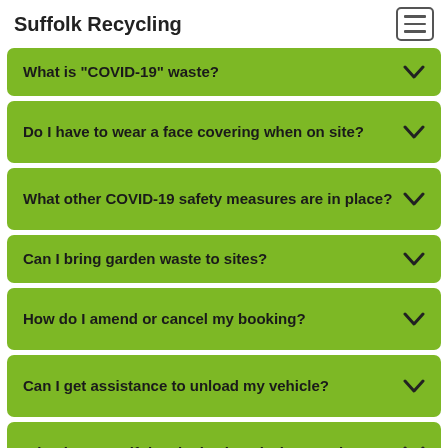Suffolk Recycling
What is "COVID-19" waste?
Do I have to wear a face covering when on site?
What other COVID-19 safety measures are in place?
Can I bring garden waste to sites?
How do I amend or cancel my booking?
Can I get assistance to unload my vehicle?
What happens if the site is closed when I arrive?